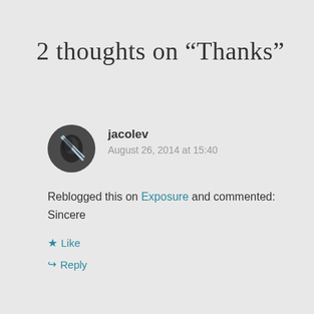2 thoughts on “Thanks”
jacolev
August 26, 2014 at 15:40
Reblogged this on Exposure and commented:
Sincere
Like
Reply